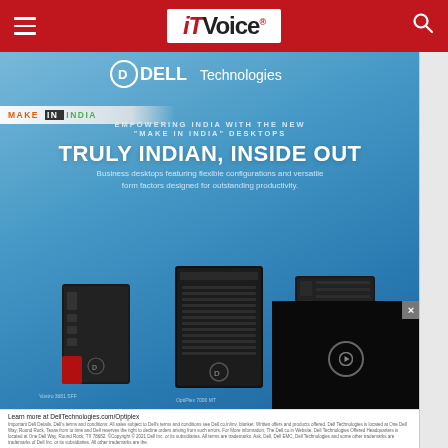[Figure (screenshot): IT Voice website navigation bar with red background, hamburger menu on left, IT Voice logo in center white box, search icon on right]
[Figure (advertisement): Dell Technologies Make in India desktop advertisement on blue gradient background. Shows Dell Technologies logo, Make in India badge, headline 'TRULY INDIAN, INSIDE OUT', subtext about business desktops, and three Dell desktop computer models (Vostro 3681 SFF, OptiPlex 7000 MT, OptiPlex tower). Black video overlay in bottom right corner. Footer with learn more link and legal disclaimers.]